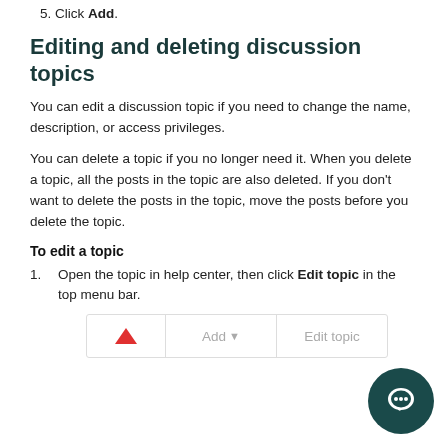5. Click Add.
Editing and deleting discussion topics
You can edit a discussion topic if you need to change the name, description, or access privileges.
You can delete a topic if you no longer need it. When you delete a topic, all the posts in the topic are also deleted. If you don't want to delete the posts in the topic, move the posts before you delete the topic.
To edit a topic
1. Open the topic in help center, then click Edit topic in the top menu bar.
[Figure (screenshot): A toolbar showing a red triangle/upload icon on the left, then an Add dropdown button, then an Edit topic button, all separated by vertical dividers.]